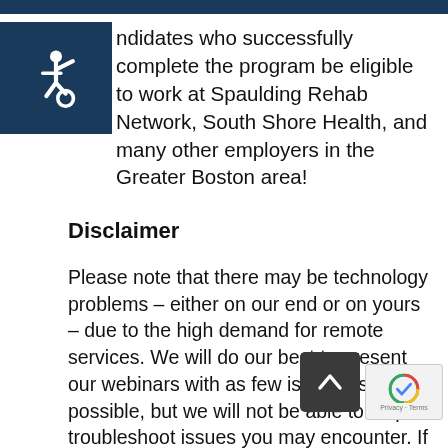[Figure (illustration): Dark navy blue horizontal bar at the top of the page]
[Figure (illustration): Dark navy blue square box with white wheelchair accessibility icon]
ndidates who successfully complete the program be eligible to work at Spaulding Rehab Network, South Shore Health, and many other employers in the Greater Boston area!
Disclaimer
Please note that there may be technology problems – either on our end or on yours – due to the high demand for remote services. We will do our best to present our webinars with as few issues as possible, but we will not be able to help troubleshoot issues you may encounter. If you do have problems, we recommend that you exit Zoom and try again. While our sessions won't be recorded, we be continuing to offer webinars throughout the